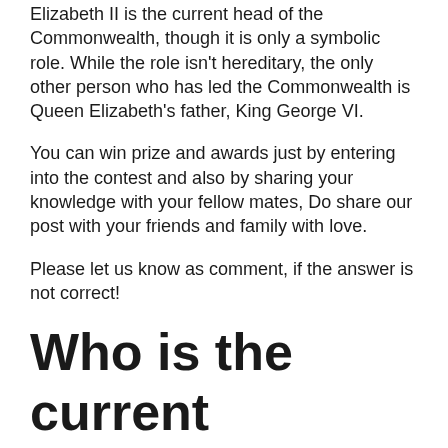Elizabeth II is the current head of the Commonwealth, though it is only a symbolic role. While the role isn't hereditary, the only other person who has led the Commonwealth is Queen Elizabeth's father, King George VI.
You can win prize and awards just by entering into the contest and also by sharing your knowledge with your fellow mates, Do share our post with your friends and family with love.
Please let us know as comment, if the answer is not correct!
Who is the current